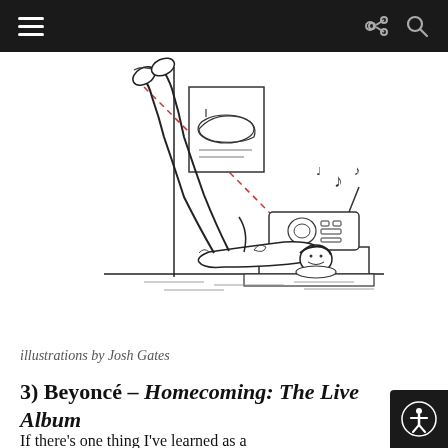Navigation bar with hamburger menu, share, and search icons
[Figure (illustration): Pen-and-ink illustration of a person lying on the floor with legs raised against a wall, listening to music from a boombox on a table. A poster of a sneaker hangs on the wall. A red dashed line connects the person's raised foot to the boombox. Musical notes float above the boombox.]
illustrations by Josh Gates
3) Beyoncé – Homecoming: The Live Album
If there's one thing I've learned as a